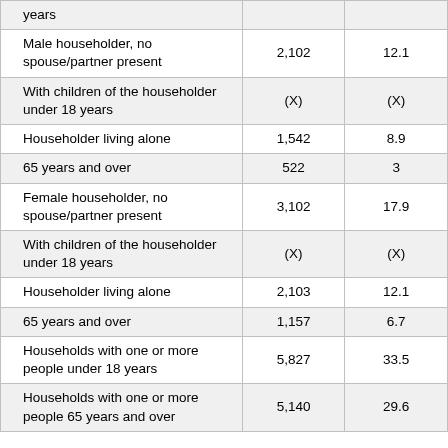|  |  |  |
| --- | --- | --- |
| years |  |  |
| Male householder, no spouse/partner present | 2,102 | 12.1 |
| With children of the householder under 18 years | (X) | (X) |
| Householder living alone | 1,542 | 8.9 |
| 65 years and over | 522 | 3 |
| Female householder, no spouse/partner present | 3,102 | 17.9 |
| With children of the householder under 18 years | (X) | (X) |
| Householder living alone | 2,103 | 12.1 |
| 65 years and over | 1,157 | 6.7 |
| Households with one or more people under 18 years | 5,827 | 33.5 |
| Households with one or more people 65 years and over | 5,140 | 29.6 |